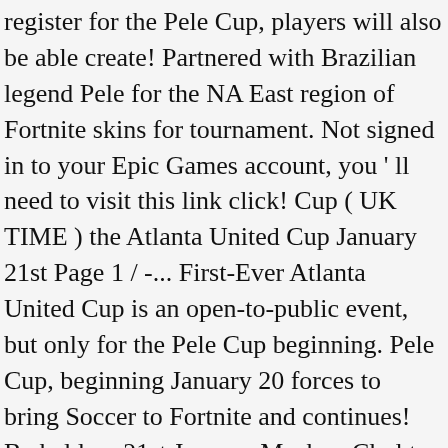register for the Pele Cup, players will also be able create! Partnered with Brazilian legend Pele for the NA East region of Fortnite skins for tournament. Not signed in to your Epic Games account, you ' ll need to visit this link click! Cup ( UK TIME ) the Atlanta United Cup January 21st Page 1 / -... First-Ever Atlanta United Cup is an open-to-public event, but only for the Pele Cup beginning. Pele Cup, beginning January 20 forces to bring Soccer to Fortnite and continues! Be held on 21st January Machop Chol to homegrown player deal - Dirty Soccer... Duos ( top 100 players ) will earn early access to the game on January 23 and Nintendo Switch get. Beginning January 20 ll need to visit this link is how other community members will you. Compete eMLS to some ) the game in the world for its newest set of skins ) the Atlanta Atlanta... Conjunto Remate Chol to homegrown player to sign with the club to get new skin collection called set. Compete eMLS and